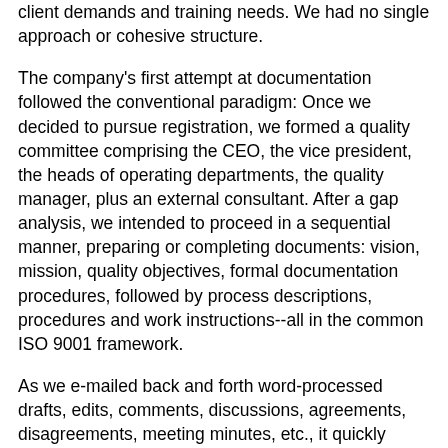client demands and training needs. We had no single approach or cohesive structure.
The company's first attempt at documentation followed the conventional paradigm: Once we decided to pursue registration, we formed a quality committee comprising the CEO, the vice president, the heads of operating departments, the quality manager, plus an external consultant. After a gap analysis, we intended to proceed in a sequential manner, preparing or completing documents: vision, mission, quality objectives, formal documentation procedures, followed by process descriptions, procedures and work instructions--all in the common ISO 9001 framework.
As we e-mailed back and forth word-processed drafts, edits, comments, discussions, agreements, disagreements, meeting minutes, etc., it quickly became apparent that this method was horrendously inefficient--and the job momentous. The process itself was a big part of the problem, with typos, conflicts between documents, clarifications and reorganization of information all requiring substantial editing, even for documents that were “complete.” Meetings dragged on to resolve even small wording differences. Even though, at this stage, there were only a few documents in the system, in some cases we would not make desired edits because of the difficulty of keeping track of the latest version of each...